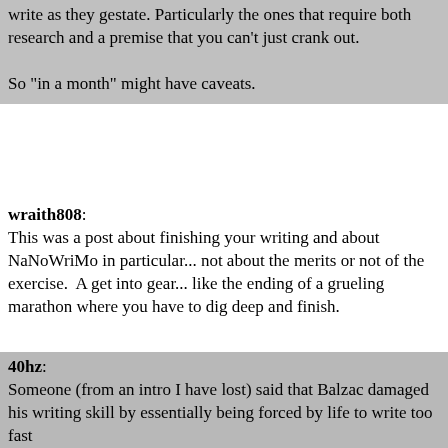write as they gestate. Particularly the ones that require both research and a premise that you can't just crank out.

So "in a month" might have caveats.
wraith808: This was a post about finishing your writing and about NaNoWriMo in particular... not about the merits or not of the exercise.  A get into gear... like the ending of a grueling marathon where you have to dig deep and finish.
40hz: Someone (from an intro I have lost) said that Balzac damaged his writing skill by essentially being forced by life to write too fast -TaoPhoenix (November 28, 2014, 10:05 PM) --- End quote ---

How could anyone who was not a contemporary and close personal friend of Balzac possibly know that to be true? Seriously. :huh:

I drives me crazy when biographers or 'intro' writers present their personal opinions or conclusions about about something in an author's life as an established fact. Perhaps it makes for a quotable line or two in a review. But it usually has scant basis in fact.